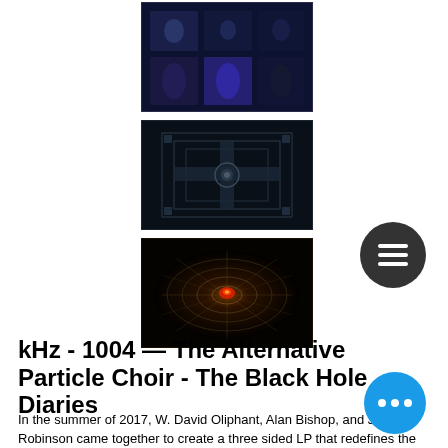[Figure (photo): Three album covers stacked vertically, centered on the page. Top: dark blue multi-panel fantasy artwork. Middle: dark navy geometric/labyrinth design. Bottom: dark radial/eye-like design with gold spiderweb texture on black background.]
kHz - 1004 — The Alternative Particle Choir - The Black Hole Diaries
In the summer of 2017, W. David Oliphant, Alan Bishop, and Joel Robinson came together to create a three sided LP that redefines the concept of 'sun damaged' often ascribed to Arizona sounds.  This release brought W. David Oliphant, Bob Ande and Ryan J. Bruce together to start this Bisb Arizona-based record label.